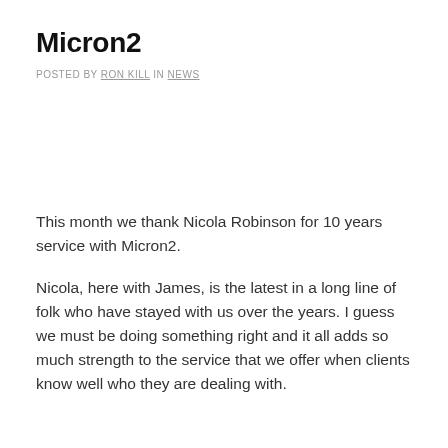Micron2
POSTED BY RON KILL IN NEWS
This month we thank Nicola Robinson for 10 years service with Micron2.
Nicola, here with James, is the latest in a long line of folk who have stayed with us over the years. I guess we must be doing something right and it all adds so much strength to the service that we offer when clients know well who they are dealing with.